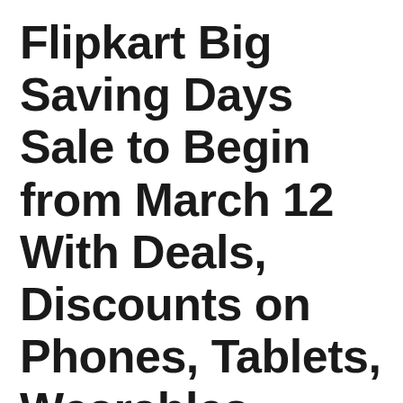Flipkart Big Saving Days Sale to Begin from March 12 With Deals, Discounts on Phones, Tablets, Wearables
June 20, 2022 by admin